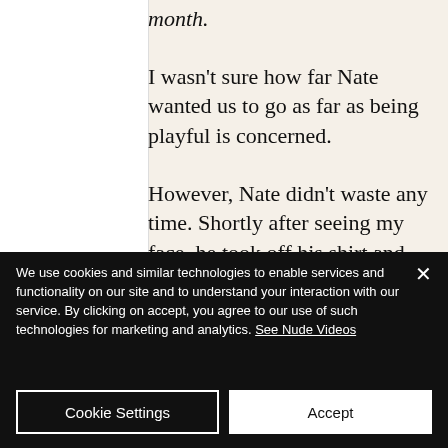month.
I wasn't sure how far Nate wanted us to go as far as being playful is concerned.
However, Nate didn't waste any time. Shortly after seeing my face, he took off his shirt and released his monster cock from his pants.
We use cookies and similar technologies to enable services and functionality on our site and to understand your interaction with our service. By clicking on accept, you agree to our use of such technologies for marketing and analytics. See Nude Videos
Cookie Settings
Accept